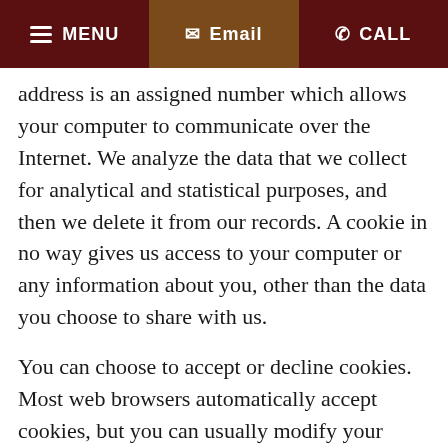MENU   Email   CALL
address is an assigned number which allows your computer to communicate over the Internet. We analyze the data that we collect for analytical and statistical purposes, and then we delete it from our records. A cookie in no way gives us access to your computer or any information about you, other than the data you choose to share with us.
You can choose to accept or decline cookies. Most web browsers automatically accept cookies, but you can usually modify your browser setting to decline cookies if you prefer. However, that may prevent you from taking full advantage of the website.